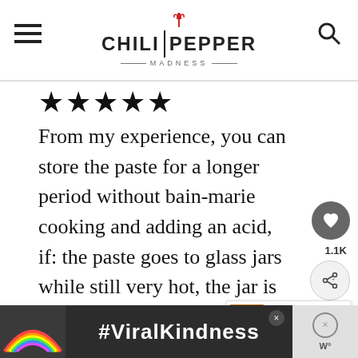[Figure (logo): Chili Pepper Madness logo with hamburger menu and search icon in header]
★★★★★
From my experience, you can store the paste for a longer period without bain-marie cooking and adding an acid, if: the paste goes to glass jars while still very hot, the jar is filled at it's maximum capacity, the salt is adequate quantity and you
[Figure (infographic): What's Next: How to Make Chili Oil thumbnail]
[Figure (screenshot): #ViralKindness advertisement banner at bottom of page]